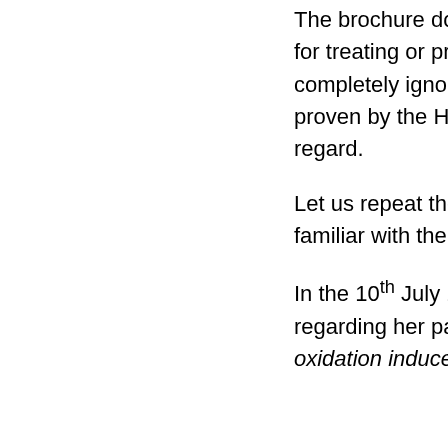The brochure does not list any recommendations for treating or preventing AIDS.  The RA Board has completely ignored our predictions.  Even those proven by the HIV experts themselves in this regard.

Let us repeat these predictions for those not familiar with them.

In the 10th July 1986 re-submission letter to Nature regarding her paper Reappraisal of AIDS : Is the oxidation induced by